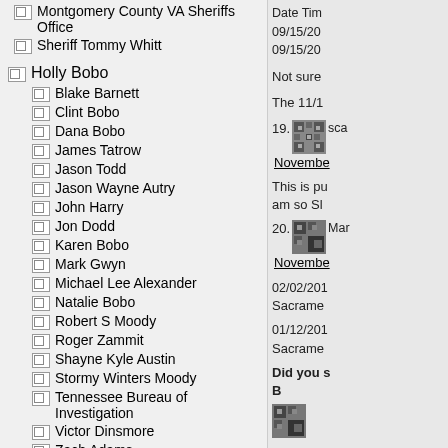Montgomery County VA Sheriffs Office
Sheriff Tommy Whitt
Holly Bobo
Blake Barnett
Clint Bobo
Dana Bobo
James Tatrow
Jason Todd
Jason Wayne Autry
John Harry
Jon Dodd
Karen Bobo
Mark Gwyn
Michael Lee Alexander
Natalie Bobo
Robert S Moody
Roger Zammit
Shayne Kyle Austin
Stormy Winters Moody
Tennessee Bureau of Investigation
Victor Dinsmore
Zach Adams
Zachary Rye Adams
Holly Fischer
Ali Ozan Girit
Liz Stafford
Ted Fischer
Date Tim 09/15/20 09/15/20
Not sure
The 11/1
19. sca November
This is pu am so Sl
20. Mar November
02/02/201 Sacrame
01/12/201 Sacrame
Did you s B